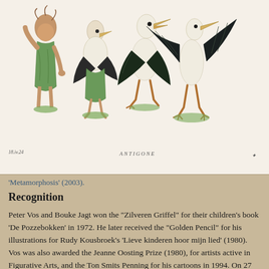[Figure (illustration): A colored illustration showing a sequence of figures transforming from a human woman in a green dress into a stork bird, depicting metamorphosis in five stages. The word 'ANTIGONE' appears as a caption beneath the figures. Dated '18.iv.24' on the left.]
'Metamorphosis' (2003).
Recognition
Peter Vos and Bouke Jagt won the "Zilveren Griffel" for their children's book 'De Pozzebokken' in 1972. He later received the "Golden Pencil" for his illustrations for Rudy Kousbroek's 'Lieve kinderen hoor mijn lied' (1980). Vos was also awarded the Jeanne Oosting Prize (1980), for artists active in Figurative Arts, and the Ton Smits Penning for his cartoons in 1994. On 27 April 1996